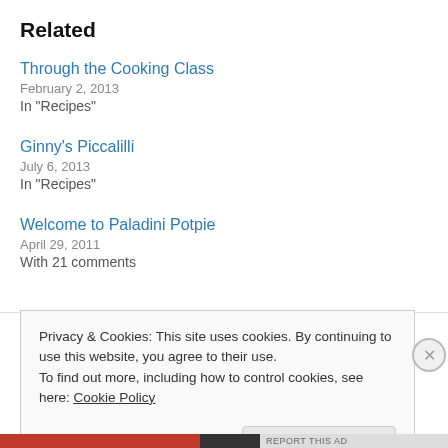Related
Through the Cooking Class
February 2, 2013
In "Recipes"
Ginny's Piccalilli
July 6, 2013
In "Recipes"
Welcome to Paladini Potpie
April 29, 2011
With 21 comments
Privacy & Cookies: This site uses cookies. By continuing to use this website, you agree to their use.
To find out more, including how to control cookies, see here: Cookie Policy